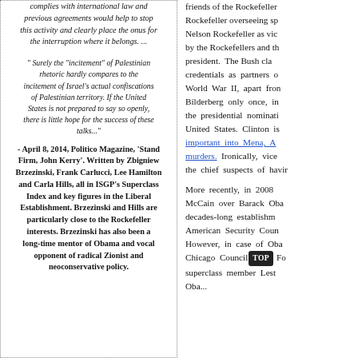complies with international law and previous agreements would help to stop this activity and clearly place the onus for the interruption where it belongs. ...
"Surely the "incitement" of Palestinian rhetoric hardly compares to the incitement of Israel's actual confiscations of Palestinian territory. If the United States is not prepared to say so openly, there is little hope for the success of these talks..."
- April 8, 2014, Politico Magazine, 'Stand Firm, John Kerry'. Written by Zbigniew Brzezinski, Frank Carlucci, Lee Hamilton and Carla Hills, all in ISGP's Superclass Index and key figures in the Liberal Establishment. Brzezinski and Hills are particularly close to the Rockefeller interests. Brzezinski has also been a long-time mentor of Obama and vocal opponent of radical Zionist and neoconservative policy.
friends of the Rockefeller... Rockefeller overseeing sp... Nelson Rockefeller as vic... by the Rockefellers and th... president. The Bush cla... credentials as partners o... World War II, apart fron... Bilderberg only once, in... the presidential nominati... United States. Clinton is important into Mena, A... murders. Ironically, vice... the chief suspects of havir...
More recently, in 2008... McCain over Barack Oba... decades-long establishm... American Security Cou... However, in case of Oba... Chicago Council TOP Fo... superclass member Lest... Oba...